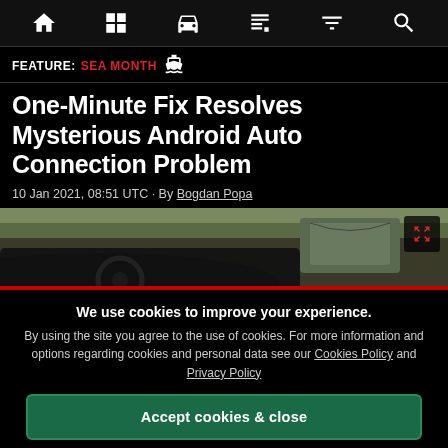Navigation bar with home, grid, car, news, filter, and search icons
FEATURE: SEA MONTH 🚢
One-Minute Fix Resolves Mysterious Android Auto Connection Problem
10 Jan 2021, 08:51 UTC · By Bogdan Popa
[Figure (photo): Car interior dashboard view from driver seat with side mirror visible and landscape in background. Red bar at bottom.]
We use cookies to improve your experience. By using the site you agree to the use of cookies. For more information and options regarding cookies and personal data see our Cookies Policy and Privacy Policy
Accept cookies & close
California residents: Do Not Sell My Info